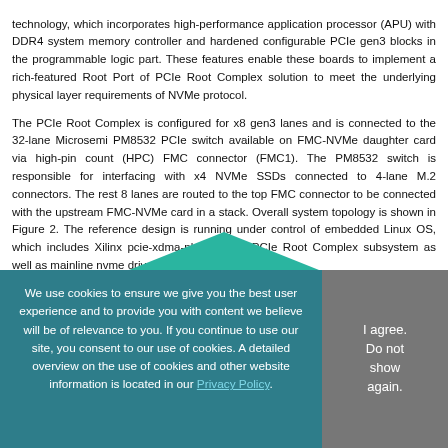technology, which incorporates high-performance application processor (APU) with DDR4 system memory controller and hardened configurable PCIe gen3 blocks in the programmable logic part. These features enable these boards to implement a rich-featured Root Port of PCIe Root Complex solution to meet the underlying physical layer requirements of NVMe protocol.
The PCIe Root Complex is configured for x8 gen3 lanes and is connected to the 32-lane Microsemi PM8532 PCIe switch available on FMC-NVMe daughter card via high-pin count (HPC) FMC connector (FMC1). The PM8532 switch is responsible for interfacing with x4 NVMe SSDs connected to 4-lane M.2 connectors. The rest 8 lanes are routed to the top FMC connector to be connected with the upstream FMC-NVMe card in a stack. Overall system topology is shown in Figure 2. The reference design is running under control of embedded Linux OS, which includes Xilinx pcie-xdma-pl driver for PCIe Root Complex subsystem as well as mainline nvme driver for NVMe protocol support.
[Figure (illustration): Teal/green triangle shape partially visible above the cookie banner]
We use cookies to ensure we give you the best user experience and to provide you with content we believe will be of relevance to you. If you continue to use our site, you consent to our use of cookies. A detailed overview on the use of cookies and other website information is located in our Privacy Policy.
I agree. Do not show again.